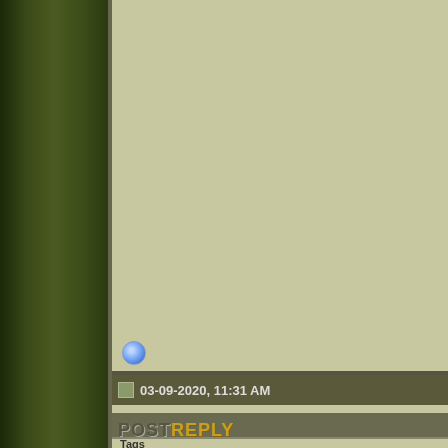[Figure (screenshot): Top portion of a forum post (cropped) showing user column on left and post content on right with text including 'he', 'ht' (link), 'w', 'La']
03-09-2020, 11:31 AM
Serendipity7000
Hamsters University
Join Date: Sep 2014
Location: North of England
Posts: 23,217
[Figure (photo): Avatar photo of a hamster looking at camera, brown fur, against blue background]
C
O
tir
w